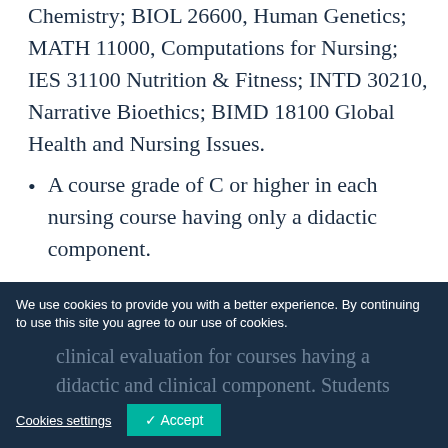Chemistry; BIOL 26600, Human Genetics; MATH 11000, Computations for Nursing; IES 31100 Nutrition & Fitness; INTD 30210, Narrative Bioethics; BIMD 18100 Global Health and Nursing Issues.
A course grade of C or higher in each nursing course having only a didactic component.
A course grade of C or higher in each clinical nursing course; and a satisfactory clinical evaluation for courses having a didactic and clinical component. Students...